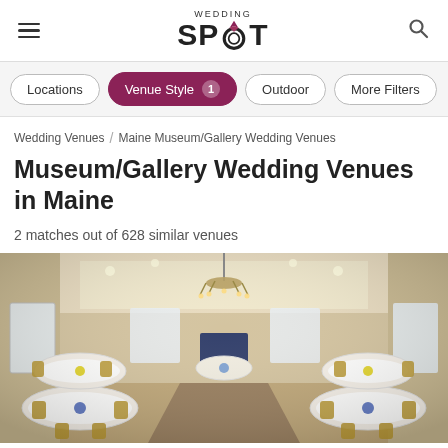Wedding Spot
Locations | Venue Style 1 | Outdoor | More Filters
Wedding Venues / Maine Museum/Gallery Wedding Venues
Museum/Gallery Wedding Venues in Maine
2 matches out of 628 similar venues
[Figure (photo): Interior of a wedding banquet hall with round tables set with white linens and chairs, a long central aisle, chandelier, and recessed ceiling lighting.]